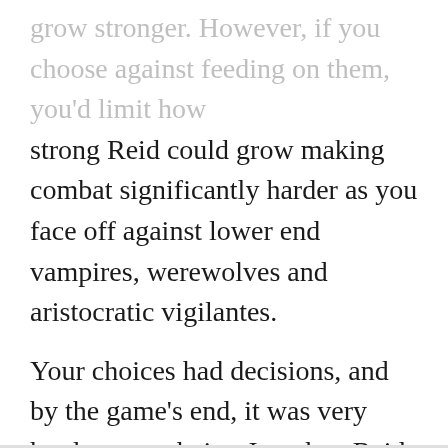grow stronger. However, if you choose against feeding on them, you'd limit how
strong Reid could grow making combat significantly harder as you face off against lower end vampires, werewolves and aristocratic vigilantes.
Your choices had decisions, and by the game's end, it was very hard to envy being Jonathan Reid. There's more to Vampyr than meets the eyes so go take a bite into it!
Legacy of Kain Series
Best Vampire Games